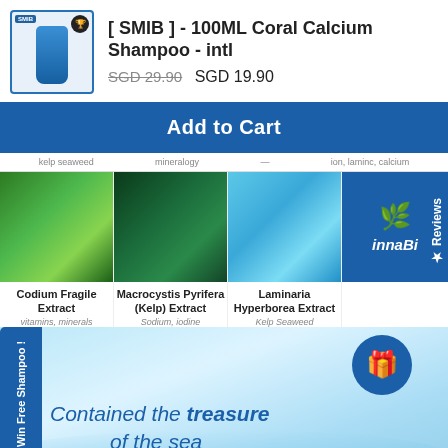[ SMIB ] - 100ML Coral Calcium Shampoo - intl
SGD 29.90  SGD 19.90
Add to Cart
kelp seaweed  mineralogy  —  ion, laminc, calcium
[Figure (photo): Four ingredient images: green seaweed (Codium Fragile Extract), dark kelp (Macrocystis Pyrifera Kelp Extract), blue water (Laminaria Hyperborea Extract), innaBi logo on blue background]
Codium Fragile Extract - vitamins, minerals
Macrocystis Pyrifera (Kelp) Extract - Sodium, iodine
Laminaria Hyperborea Extract - Kelp Seaweed
Win Free Shampoo !
★ Reviews
Contained the treasure of the sea